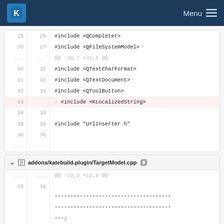KDE Menu
[Figure (screenshot): Code diff view showing file diff for a C++ source file with line numbers and removed include for KLocalizedString]
addons/katebuild-plugin/TargetModel.cpp
[Figure (screenshot): Code diff view for TargetModel.cpp showing hunk @@ -19,9 +19,9 @@ with comment block lines]